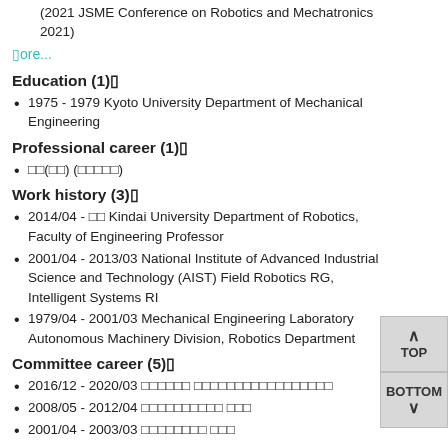(2021 JSME Conference on Robotics and Mechatronics 2021)
more...
Education (1)
1975 - 1979 Kyoto University Department of Mechanical Engineering
Professional career (1)
□□(□□) (□□□□□)
Work history (3)
2014/04 - □□ Kindai University Department of Robotics, Faculty of Engineering Professor
2001/04 - 2013/03 National Institute of Advanced Industrial Science and Technology (AIST) Field Robotics RG, Intelligent Systems RI
1979/04 - 2001/03 Mechanical Engineering Laboratory Autonomous Machinery Division, Robotics Department
Committee career (5)
2016/12 - 2020/03 □□□□□□ □□□□□□□□□□□□□□□□□
2008/05 - 2012/04 □□□□□□□□□□ □□□
2001/04 - 2003/03 □□□□□□□□ □□□